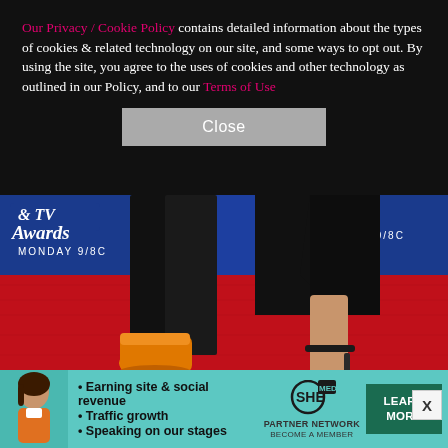Our Privacy / Cookie Policy contains detailed information about the types of cookies & related technology on our site, and some ways to opt out. By using the site, you agree to the uses of cookies and other technology as outlined in our Policy, and to our Terms of Use
[Figure (photo): Close button (gray) on black cookie consent overlay background]
[Figure (photo): Red carpet photo showing two people's feet/legs: one wearing orange high-top sneakers with black pants, one wearing black strappy heeled sandals with a black dress. BET Awards backdrop visible in blue with 'Awards MONDAY 9/8c' text.]
[Figure (photo): Advertisement banner for SHE Partner Network on teal/mint background. Features a woman's photo, bullet points: Earning site & social revenue, Traffic growth, Speaking on our stages. SHE Partner Network logo and LEARN MORE green button.]